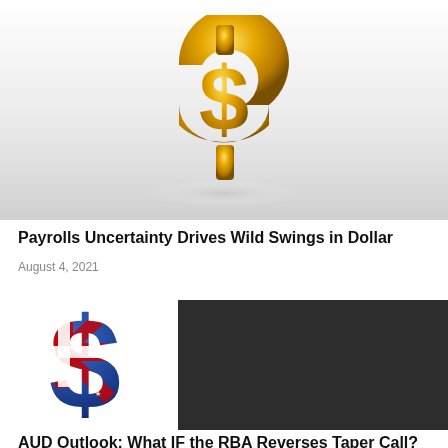[Figure (photo): 3D golden dollar sign symbol on light grey gradient background, viewed from slightly above]
Payrolls Uncertainty Drives Wild Swings in Dollar
August 4, 2021
[Figure (photo): Blue 3D dollar sign with Australian flag design (Union Jack, stars) on white background]
[Figure (photo): Dark grey/black rectangle, appears to be a video thumbnail or placeholder image]
AUD Outlook: What IF the RBA Reverses Taper Call?